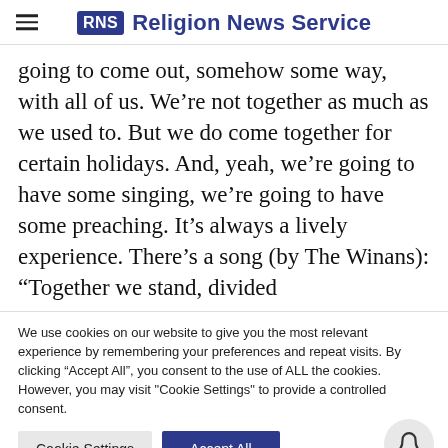RNS Religion News Service
going to come out, somehow some way, with all of us. We're not together as much as we used to. But we do come together for certain holidays. And, yeah, we're going to have some singing, we're going to have some preaching. It's always a lively experience. There's a song (by The Winans): “Together we stand, divided
We use cookies on our website to give you the most relevant experience by remembering your preferences and repeat visits. By clicking “Accept All”, you consent to the use of ALL the cookies. However, you may visit "Cookie Settings" to provide a controlled consent.